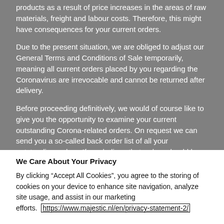products as a result of price increases in the areas of raw materials, freight and labour costs. Therefore, this might have consequences for your current orders.
Due to the present situation, we are obliged to adjust our General Terms and Conditions of Sale temporarily, meaning all current orders placed by you regarding the Coronavirus are irrevocable and cannot be returned after delivery.
Before proceeding definitively, we would of course like to give you the opportunity to examine your current outstanding Corona-related orders. On request we can send you a so-called back order list of all your outstanding orders. If you believe that orders should be canceled, we offer you the opportunity to do this free of charge within 5 working days after receipt of this letter. These orders will
We Care About Your Privacy
By clicking “Accept All Cookies”, you agree to the storing of cookies on your device to enhance site navigation, analyze site usage, and assist in our marketing efforts.  https://www.majestic.nl/en/privacy-statement-2/